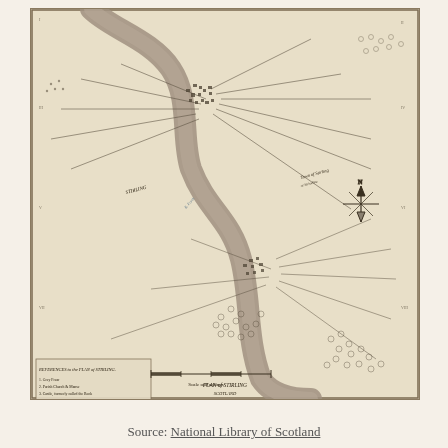[Figure (map): Historical black and white map showing an S-curved river (likely the River Forth near Stirling, Scotland) with surrounding settlements, roads, fields, trees, and land features. The map includes a compass rose on the right side, a legend in the lower left, and a scale bar near the bottom. Place names and labels are scattered throughout the map.]
Source: National Library of Scotland